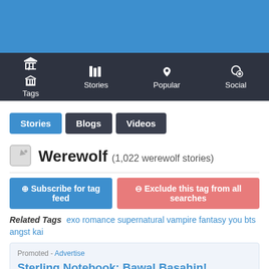[Figure (screenshot): Blue header banner at top of page]
Tags  Stories  Popular  Social
Stories
Blogs
Videos
Werewolf (1,022 werewolf stories)
Subscribe for tag feed  Exclude this tag from all searches
Related Tags  exo  romance  supernatural  vampire  fantasy  you  bts  angst  kai
Promoted - Advertise
Sterling Notebook: Bawal Basahin!
AUTHOR TOOTSIE & ATE SAM THANK YOU!!!